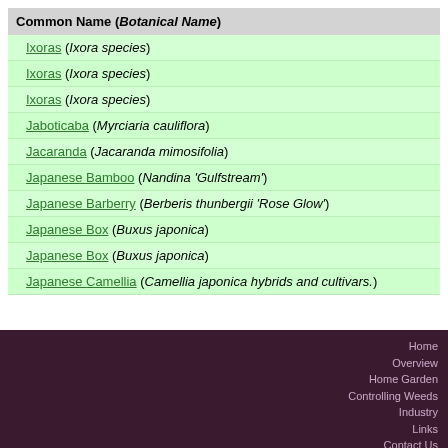| Common Name (Botanical Name) |
| --- |
| Ixoras (Ixora species) |
| Ixoras (Ixora species) |
| Ixoras (Ixora species) |
| Jaboticaba (Myrciaria cauliflora) |
| Jacaranda (Jacaranda mimosifolia) |
| Japanese Bamboo (Nandina 'Gulfstream') |
| Japanese Barberry (Berberis thunbergii 'Rose Glow') |
| Japanese Box (Buxus japonica) |
| Japanese Box (Buxus japonica) |
| Japanese Camellia (Camellia japonica hybrids and cultivars.) |
Page: << < 21 22 23 24 25 26 27 28 29 30 > >>
Home
Overview
Home Garden
Controlling Weeds
Industry
Links
Contact Us
Plant Search
Acknowledgements